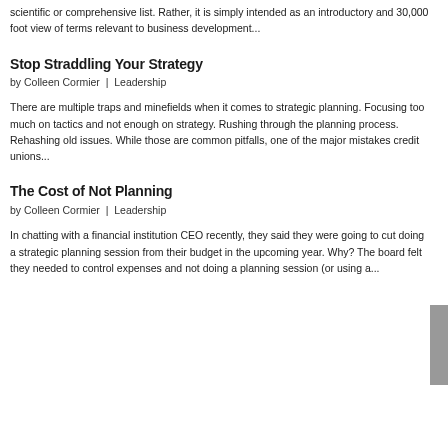scientific or comprehensive list. Rather, it is simply intended as an introductory and 30,000 foot view of terms relevant to business development...
Stop Straddling Your Strategy
by Colleen Cormier  |  Leadership
There are multiple traps and minefields when it comes to strategic planning. Focusing too much on tactics and not enough on strategy. Rushing through the planning process. Rehashing old issues. While those are common pitfalls, one of the major mistakes credit unions...
The Cost of Not Planning
by Colleen Cormier  |  Leadership
In chatting with a financial institution CEO recently, they said they were going to cut doing a strategic planning session from their budget in the upcoming year. Why? The board felt they needed to control expenses and not doing a planning session (or using a...